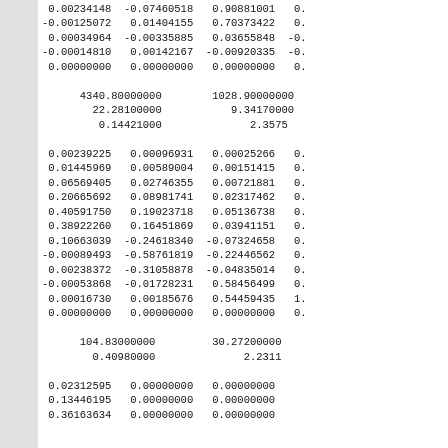0.00234148  -0.07460518   0.90881001   0.
-0.00125072   0.01404155   0.70373422   0.
 0.00034964  -0.00335885   0.03655848  -0.
-0.00014810   0.00142167  -0.00920335  -0.
 0.00000000   0.00000000   0.00000000   0.

      4340.80000000        1028.90000000
        22.28100000           9.34170000
         0.14421000              2.3575

 0.00239225   0.00096931   0.00025266   0.
 0.01445969   0.00589004   0.00151415   0.
 0.06569405   0.02746355   0.00721881   0.
 0.20665692   0.08981741   0.02317462   0.
 0.40591750   0.19023718   0.05136738   0.
 0.38922260   0.16451869   0.03941151   0.
 0.10663039  -0.24618340  -0.07324658   0.
-0.00089493  -0.58761819  -0.22446562   0.
 0.00238372  -0.31058878  -0.04835014   0.
-0.00053868  -0.01728231   0.58456499   0.
 0.00016730   0.00185676   0.54459435   1.
 0.00000000   0.00000000   0.00000000   0.

      104.83000000         30.27200000
        0.40980000              2.2311

 0.02312595   0.00000000   0.00000000
 0.13446195   0.00000000   0.00000000
 0.36163634   0.00000000   0.00000000